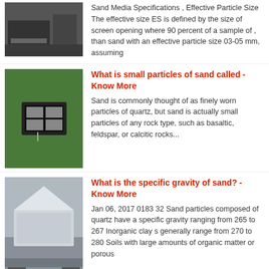[Figure (photo): Industrial machinery photo, dark colored equipment on concrete floor]
Sand Media Specifications , Effective Particle Size The effective size ES is defined by the size of screen opening where 90 percent of a sample of , than sand with an effective particle size 03-05 mm, assuming
[Figure (photo): Green machine with a label/plate showing text in a foreign language]
What is small particles of sand called - Know More
Sand is commonly thought of as finely worn particles of quartz, but sand is actually small particles of any rock type, such as basaltic, feldspar, or calcitic rocks...
[Figure (photo): White industrial vibrating screen machine in a factory setting]
What is the specific gravity of sand? - Know More
Jan 06, 2017 0183 32 Sand particles composed of quartz have a specific gravity ranging from 265 to 267 Inorganic clay s generally range from 270 to 280 Soils with large amounts of organic matter or porous
[Figure (photo): Industrial conveyor or sorting machine with orange/red elements visible]
Mass of a Grain of Sand - Know More
Since the grain size of sand may vary, the mass of the individual grain of sand may vary according to its size as well as its composition Using the ranges of diameters, I obtained the volume of the sand grain by